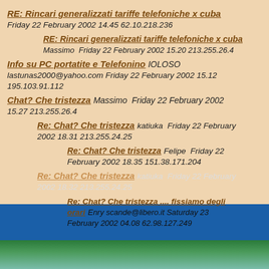RE: Rincari generalizzati tariffe telefoniche x cuba Friday 22 February 2002 14.45 62.10.218.236
RE: Rincari generalizzati tariffe telefoniche x cuba Massimo Friday 22 February 2002 15.20 213.255.26.4
Info su PC portatite e Telefonino IOLOSO lastunas2000@yahoo.com Friday 22 February 2002 15.12 195.103.91.112
Chat? Che tristezza Massimo Friday 22 February 2002 15.27 213.255.26.4
Re: Chat? Che tristezza katiuka Friday 22 February 2002 18.31 213.255.24.25
Re: Chat? Che tristezza Felipe Friday 22 February 2002 18.35 151.38.171.204
Re: Chat? Che tristezza katiuka Friday 22 February 2002 18.32 213.255.24.25
Re: Chat? Che tristezza .... fissiamo degli orari Enry scande@libero.it Saturday 23 February 2002 04.08 62.98.127.249